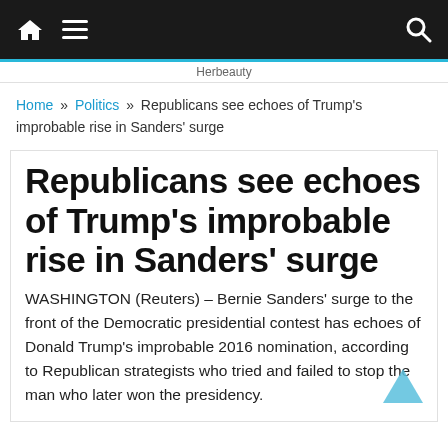Navigation bar with home, menu, and search icons
Herbeauty
Home » Politics » Republicans see echoes of Trump's improbable rise in Sanders' surge
Republicans see echoes of Trump's improbable rise in Sanders' surge
WASHINGTON (Reuters) – Bernie Sanders' surge to the front of the Democratic presidential contest has echoes of Donald Trump's improbable 2016 nomination, according to Republican strategists who tried and failed to stop the man who later won the presidency.